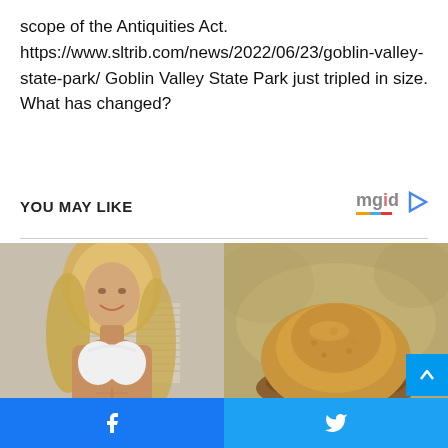scope of the Antiquities Act. https://www.sltrib.com/news/2022/06/23/goblin-valley-state-park/ Goblin Valley State Park just tripled in size. What has changed?
YOU MAY LIKE
[Figure (photo): Two photos side by side: left shows a blonde woman in a white sports bra with toned abs; right shows a pile of golden-brown powder (likely a supplement or spice) in a wooden spoon.]
Facebook share button and Twitter share button